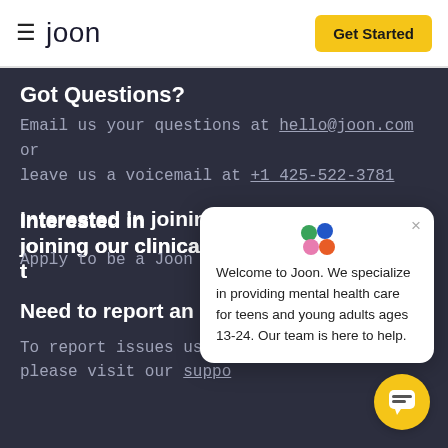joon | Get Started
Got Questions?
Email us your questions at hello@joon.com or leave us a voicemail at +1 425-522-3781
Interested in joining our clinical team?
Apply to be a Joon T...
Need to report an is...
To report issues using... please visit our suppo...
[Figure (screenshot): Joon chat popup: Welcome to Joon. We specialize in providing mental health care for teens and young adults ages 13-24. Our team is here to help.]